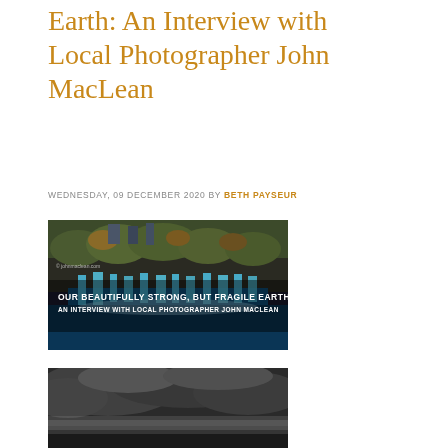Earth: An Interview with Local Photographer John MacLean
WEDNESDAY, 09 DECEMBER 2020 BY BETH PAYSEUR
[Figure (photo): Landscape photo showing trees and a waterfall with overlay text reading OUR BEAUTIFULLY STRONG, BUT FRAGILE EARTH: AN INTERVIEW WITH LOCAL PHOTOGRAPHER JOHN MACLEAN]
[Figure (photo): Black and white moody landscape photograph showing foggy or stormy scenery]